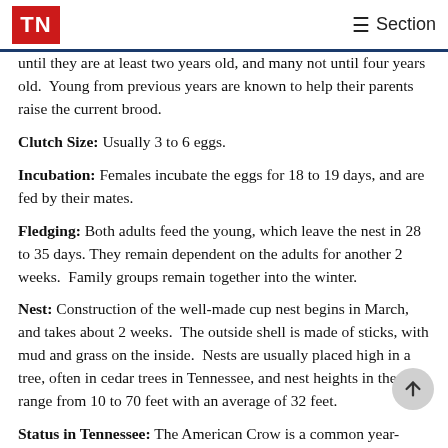TN | Section
until they are at least two years old, and many not until four years old.  Young from previous years are known to help their parents raise the current brood.
Clutch Size: Usually 3 to 6 eggs.
Incubation: Females incubate the eggs for 18 to 19 days, and are fed by their mates.
Fledging: Both adults feed the young, which leave the nest in 28 to 35 days. They remain dependent on the adults for another 2 weeks.  Family groups remain together into the winter.
Nest: Construction of the well-made cup nest begins in March, and takes about 2 weeks.  The outside shell is made of sticks, with mud and grass on the inside.  Nests are usually placed high in a tree, often in cedar trees in Tennessee, and nest heights in the state range from 10 to 70 feet with an average of 32 feet.
Status in Tennessee: The American Crow is a common year-